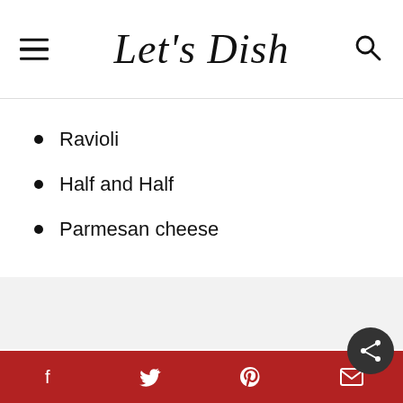Let's Dish
Ravioli
Half and Half
Parmesan cheese
Social share bar with Facebook, Twitter, Pinterest, Email icons